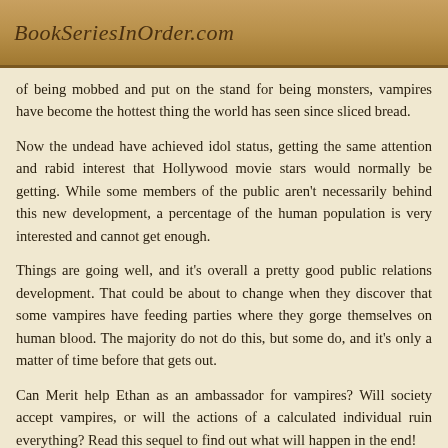BookSeriesInOrder.com
of being mobbed and put on the stand for being monsters, vampires have become the hottest thing the world has seen since sliced bread.
Now the undead have achieved idol status, getting the same attention and rabid interest that Hollywood movie stars would normally be getting. While some members of the public aren't necessarily behind this new development, a percentage of the human population is very interested and cannot get enough.
Things are going well, and it's overall a pretty good public relations development. That could be about to change when they discover that some vampires have feeding parties where they gorge themselves on human blood. The majority do not do this, but some do, and it's only a matter of time before that gets out.
Can Merit help Ethan as an ambassador for vampires? Will society accept vampires, or will the actions of a calculated individual ruin everything? Read this sequel to find out what will happen in the end!